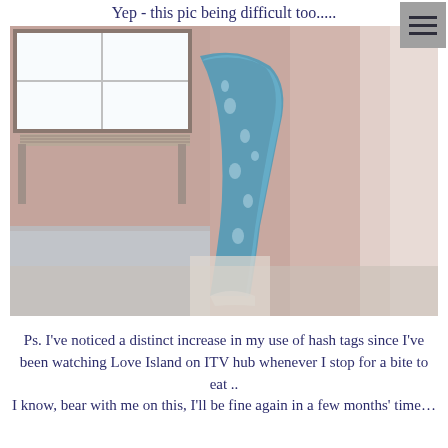Yep - this pic being difficult too.....
[Figure (photo): A cat holding or hiding behind a blue lace/crochet shawl or curtain, draped near a window in a pink-walled room. The cat's paws are visible clutching the fabric.]
Ps. I've noticed a distinct increase in my use of hash tags since I've been watching Love Island on ITV hub whenever I stop for a bite to eat ..
I know, bear with me on this, I'll be fine again in a few months' time…